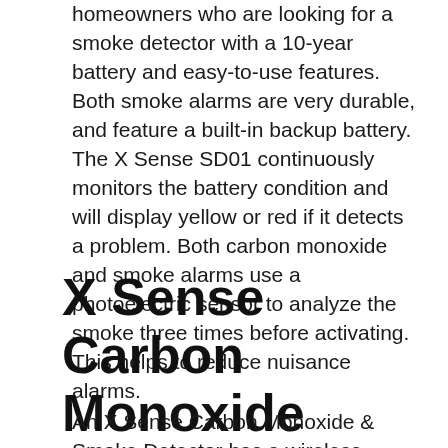homeowners who are looking for a smoke detector with a 10-year battery and easy-to-use features. Both smoke alarms are very durable, and feature a built-in backup battery. The X Sense SD01 continuously monitors the battery condition and will display yellow or red if it detects a problem. Both carbon monoxide and smoke alarms use a photoelectric sensor to analyze the smoke three times before activating. This helps to reduce nuisance alarms.
X Sense Carbon Monoxide Detector
An X Sense Carbon Monoxide & Smoke Detector has a wireless network and is